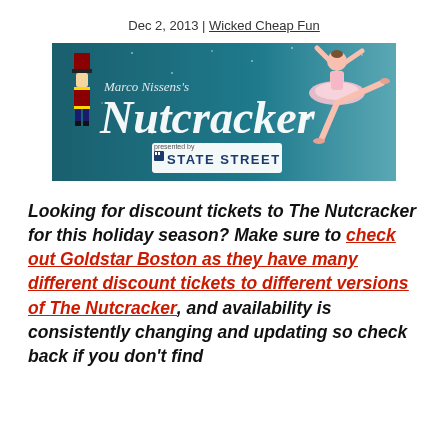Dec 2, 2013 | Wicked Cheap Fun
[Figure (illustration): The Nutcracker banner image featuring a ballet dancer and the text 'Marco Nissens Nutcracker presented by State Street']
Looking for discount tickets to The Nutcracker for this holiday season? Make sure to check out Goldstar Boston as they have many different discount tickets to different versions of The Nutcracker, and availability is consistently changing and updating so check back if you don't find